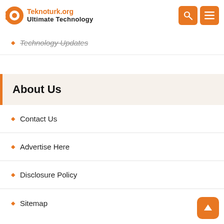Teknoturk.org Ultimate Technology
Technology Updates
About Us
Contact Us
Advertise Here
Disclosure Policy
Sitemap